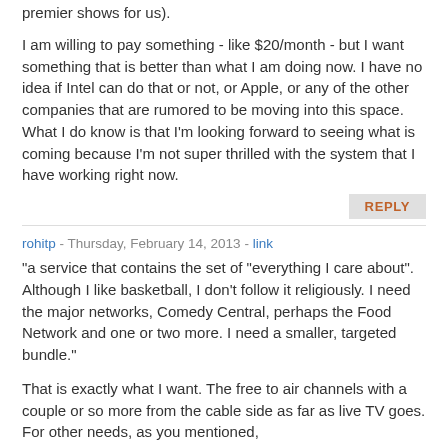premier shows for us).
I am willing to pay something - like $20/month - but I want something that is better than what I am doing now. I have no idea if Intel can do that or not, or Apple, or any of the other companies that are rumored to be moving into this space. What I do know is that I'm looking forward to seeing what is coming because I'm not super thrilled with the system that I have working right now.
REPLY
rohitp - Thursday, February 14, 2013 - link
"a service that contains the set of "everything I care about". Although I like basketball, I don't follow it religiously. I need the major networks, Comedy Central, perhaps the Food Network and one or two more. I need a smaller, targeted bundle."
That is exactly what I want. The free to air channels with a couple or so more from the cable side as far as live TV goes. For other needs, as you mentioned, Netflix/Hulu/Amazon/Vudu works fine.
I tried doing the online thing, but if it is not on TV then connecting the pc to the TV acts as an impediment to just pick up the remote and watch something.
REPLY